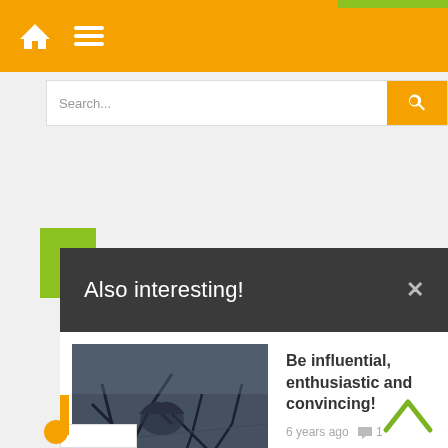[Figure (screenshot): Website navigation bar with orange background, home icon and hamburger menu in white]
[Figure (screenshot): Search bar with orange search button]
Also interesting!
[Figure (photo): Photo of a bird among dark branches]
Be influential, enthusiastic and convincing!
6 years ago  💬 1
[Figure (photo): Photo of plastic waste on sandy ground]
Pandemic and single-use plastic
1 year ago  💬 0